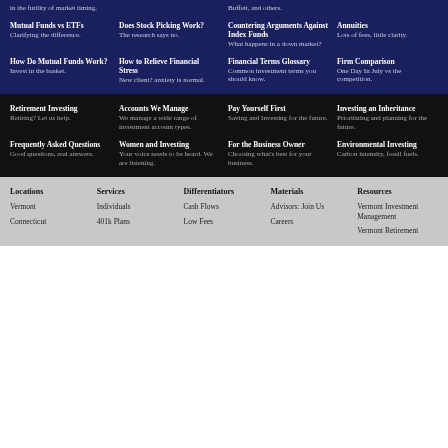in the futility of market timing.
Buffett, and others.
Mutual Funds vs ETFs — Clarifying the difference.
Does Stock Picking Work? — The research says no.
Countering Arguments Against Index Funds — What happens in a down market?
Annuities — Lots of fees, little clarity.
How Do Mutual Funds Work? — Invest in the basket.
How to Relieve Financial Stress — New client? anxiety is normal.
Financial Terms Glossary — Common investment terms you should know.
Firm Comparison — One Day In July vs the competition.
Retirement Investing — Retiring? Let us help.
Accounts We Manage — We manage a wide range of investment account types.
Pay Yourself First — Saving and Investing for the future.
Investing an Inheritance — Prioritizing and planning for the future.
Frequently Asked Questions — Good questions, real answers.
Women and Investing — Your voice needs to be heard. We are listening.
For the Business Owner — Choosing what's best for your business.
Environmental Investing — Carbon intensity, fossil fuels.
Locations
Services
Differentiators
Materials
Resources
Vermont
Individuals
Cash Flows
Advisors: Join Us
Vermont Investment Management
Connecticut
401k Plans
Low Fees
Careers
Vermont Retirement